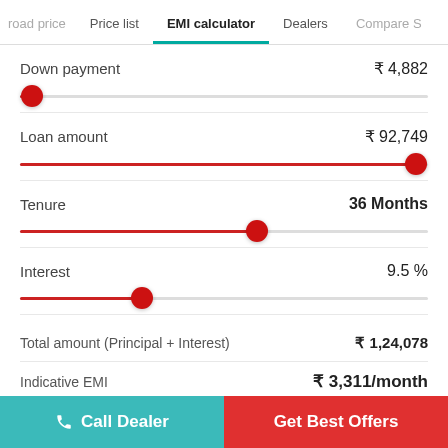road price | Price list | EMI calculator | Dealers | Compare S
Down payment
[Figure (other): Slider for down payment, thumb at far left position]
Loan amount
[Figure (other): Slider for loan amount, thumb at far right position]
Tenure
[Figure (other): Slider for tenure, thumb at middle position]
Interest
[Figure (other): Slider for interest, thumb at roughly 30% position]
Total amount (Principal + Interest)
Indicative EMI
Call Dealer | Get Best Offers